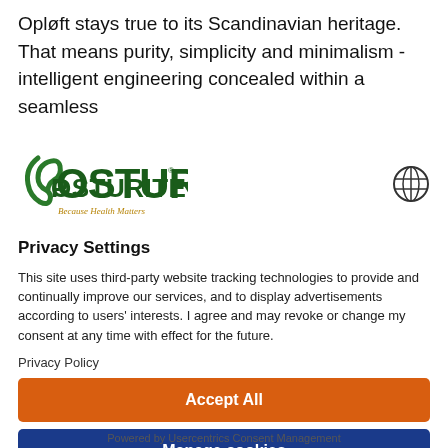Opløft stays true to its Scandinavian heritage. That means purity, simplicity and minimalism - intelligent engineering concealed within a seamless
[Figure (logo): Posturite logo - green spine graphic with POSTURITE text and tagline 'Because Health Matters']
[Figure (other): Globe/language selector icon]
Privacy Settings
This site uses third-party website tracking technologies to provide and continually improve our services, and to display advertisements according to users' interests. I agree and may revoke or change my consent at any time with effect for the future.
Privacy Policy
Accept All
Manage cookies
Powered by Usercentrics Consent Management